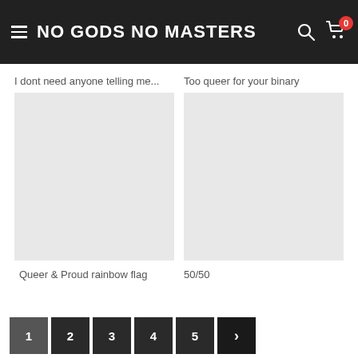NO GODS NO MASTERS
I dont need anyone telling me...
Too queer for your binary
Queer & Proud rainbow flag
50/50
1  2  3  4  5  >